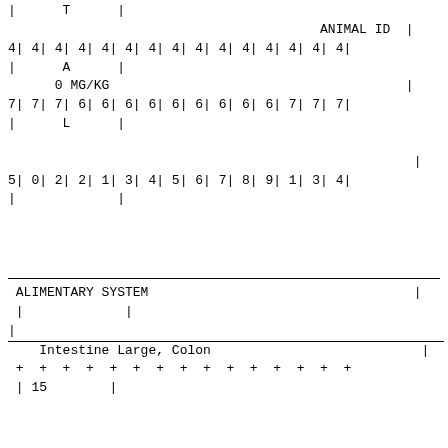| | | T | | |
|  | ANIMAL ID | | |
| 4| | 4| | 4| | 4| | 4| | 4| | 4| | 4| | 4| | 4| | 4| | 4| | 4| | 4| | 4| |
| | | A | | |
|  | 0 MG/KG | | |
| 7| | 7| | 7| | 6| | 6| | 6| | 6| | 6| | 6| | 6| | 6| | 6| | 7| | 7| | 7| |
| | | L | | |
|  |  | | |
| 5| | 0| | 2| | 2| | 1| | 3| | 4| | 5| | 6| | 7| | 8| | 9| | 1| | 3| | 4| |
| | |  | | |
ALIMENTARY SYSTEM
|                |
Intestine Large, Colon
+ + + + + + + + + + + + + + +
| 15        |